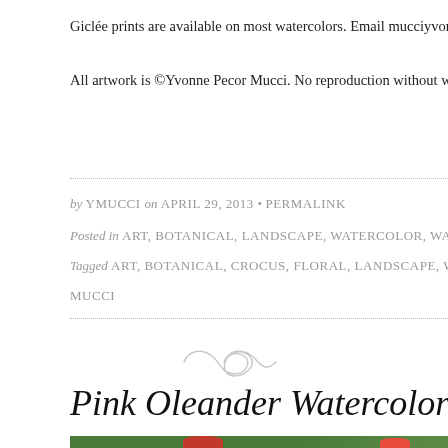Giclée prints are available on most watercolors. Email mucciyvonne@y
All artwork is ©Yvonne Pecor Mucci. No reproduction without written
by YMUCCI on APRIL 29, 2013 • PERMALINK
Posted in ART, BOTANICAL, LANDSCAPE, WATERCOLOR, WATERCOLOR P
Tagged ART, BOTANICAL, CROCUS, FLORAL, LANDSCAPE, WATERCOLOR
MUCCI
[Figure (illustration): Decorative swirl/infinity ornament divider in light gray]
Pink Oleander Watercolor
[Figure (photo): Partial view of a watercolor painting of pink oleander flowers on a dark green background]